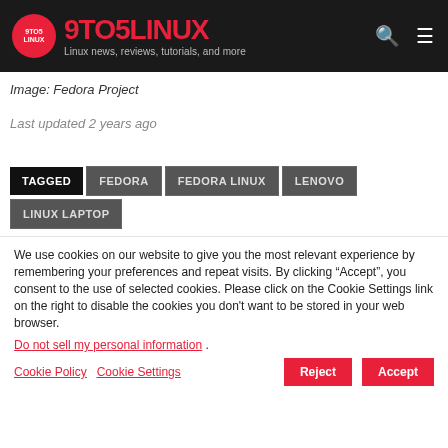9TO5LINUX - Linux news, reviews, tutorials, and more
Image: Fedora Project
Last updated 2 years ago
TAGGED | FEDORA | FEDORA LINUX | LENOVO | LINUX LAPTOP
We use cookies on our website to give you the most relevant experience by remembering your preferences and repeat visits. By clicking “Accept”, you consent to the use of selected cookies. Please click on the Cookie Settings link on the right to disable the cookies you don't want to be stored in your web browser.
Do not sell my personal information .
Cookie Policy | Cookie Settings | Reject | Accept